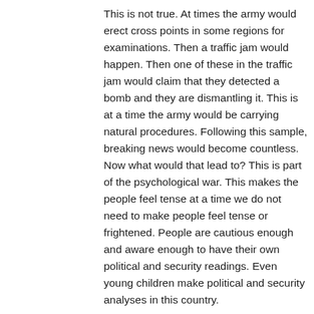This is not true. At times the army would erect cross points in some regions for examinations. Then a traffic jam would happen. Then one of these in the traffic jam would claim that they detected a bomb and they are dismantling it. This is at a time the army would be carrying natural procedures. Following this sample, breaking news would become countless. Now what would that lead to? This is part of the psychological war. This makes the people feel tense at a time we do not need to make people feel tense or frightened. People are cautious enough and aware enough to have their own political and security readings. Even young children make political and security analyses in this country.
So let's be kind enough to have control over the breaking news which may not be precise. At times they broadcast groundless news. At times they broadcast true but exaggerated events. This in fact increases the tension of the security situation in the country at a time we must all